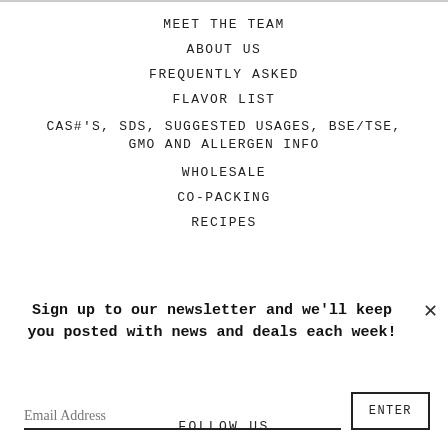MEET THE TEAM
ABOUT US
FREQUENTLY ASKED
FLAVOR LIST
CAS#'S, SDS, SUGGESTED USAGES, BSE/TSE, GMO AND ALLERGEN INFO
WHOLESALE
CO-PACKING
RECIPES
Sign up to our newsletter and we'll keep you posted with news and deals each week!
Email Address
ENTER
FOLLOW US